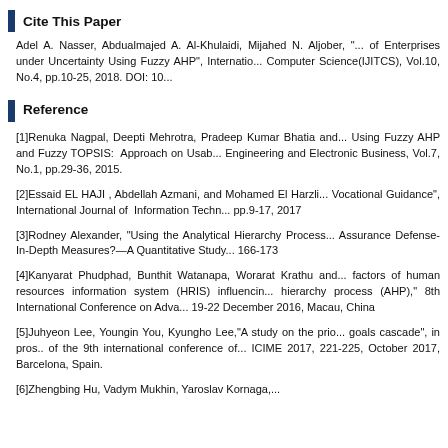Cite This Paper
Adel A. Nasser, Abdualmajed A. Al-Khulaidi, Mijahed N. Aljober, "... of Enterprises under Uncertainty Using Fuzzy AHP", International... Computer Science(IJITCS), Vol.10, No.4, pp.10-25, 2018. DOI: 10...
Reference
[1]Renuka Nagpal, Deepti Mehrotra, Pradeep Kumar Bhatia and... Using Fuzzy AHP and Fuzzy TOPSIS: Approach on Usab... Engineering and Electronic Business, Vol.7, No.1, pp.29-36, 2015.
[2]Essaid EL HAJI , Abdellah Azmani, and Mohamed El Harzli... Vocational Guidance", International Journal of Information Techn... pp.9-17, 2017
[3]Rodney Alexander, "Using the Analytical Hierarchy Process... Assurance Defense-In-Depth Measures?—A Quantitative Study... 166-173
[4]Kanyarat Phudphad, Bunthit Watanapa, Worarat Krathu and... factors of human resources information system (HRIS) influencin... hierarchy process (AHP)," 8th International Conference on Adva... 19-22 December 2016, Macau, China
[5]Juhyeon Lee, Youngin You, Kyungho Lee,"A study on the prio... goals cascade", in pros.. of the 9th international conference of... ICIME 2017, 221-225, October 2017, Barcelona, Spain.
[6]Zhengbing Hu, Vadym Mukhin, Yaroslav Kornaga,...